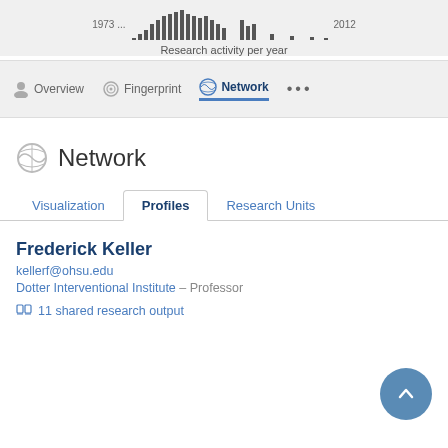[Figure (histogram): Research activity per year]
Research activity per year
Overview   Fingerprint   Network   ...
Network
Visualization   Profiles   Research Units
Frederick Keller
kellerf@ohsu.edu
Dotter Interventional Institute – Professor
11 shared research output